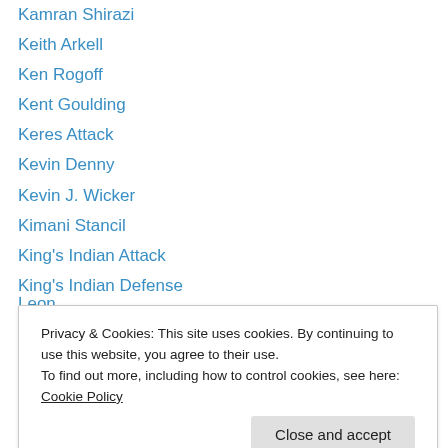Kamran Shirazi
Keith Arkell
Ken Rogoff
Kent Goulding
Keres Attack
Kevin Denny
Kevin J. Wicker
Kimani Stancil
King's Indian Attack
King's Indian Defense
Larry Gilden
Larry Kaufman
Larry Tamarkin
Privacy & Cookies: This site uses cookies. By continuing to use this website, you agree to their use. To find out more, including how to control cookies, see here: Cookie Policy
Leonid Shamkovich